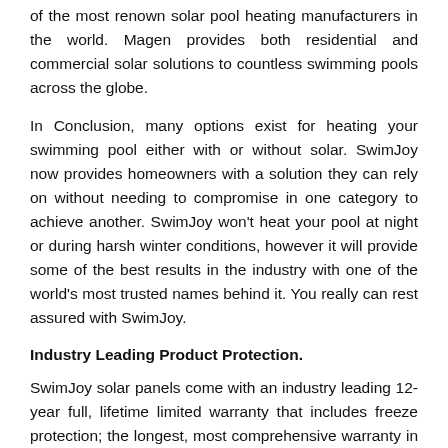of the most renown solar pool heating manufacturers in the world. Magen provides both residential and commercial solar solutions to countless swimming pools across the globe.
In Conclusion, many options exist for heating your swimming pool either with or without solar. SwimJoy now provides homeowners with a solution they can rely on without needing to compromise in one category to achieve another. SwimJoy won't heat your pool at night or during harsh winter conditions, however it will provide some of the best results in the industry with one of the world's most trusted names behind it. You really can rest assured with SwimJoy.
Industry Leading Product Protection.
SwimJoy solar panels come with an industry leading 12-year full, lifetime limited warranty that includes freeze protection; the longest, most comprehensive warranty in the industry.
Multiple Certifications.